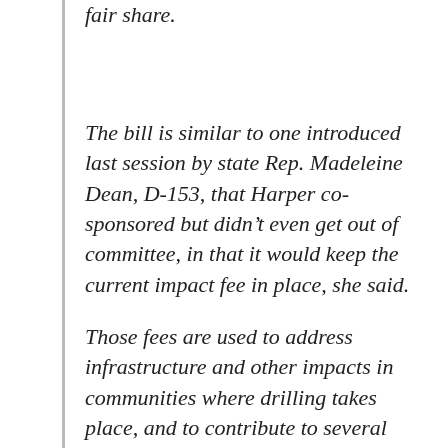fair share.
The bill is similar to one introduced last session by state Rep. Madeleine Dean, D-153, that Harper co-sponsored but didn't even get out of committee, in that it would keep the current impact fee in place, she said.
Those fees are used to address infrastructure and other impacts in communities where drilling takes place, and to contribute to several statewide environmental programs, a press release from Harper says. So far, the impact fee has generated more than $630 million